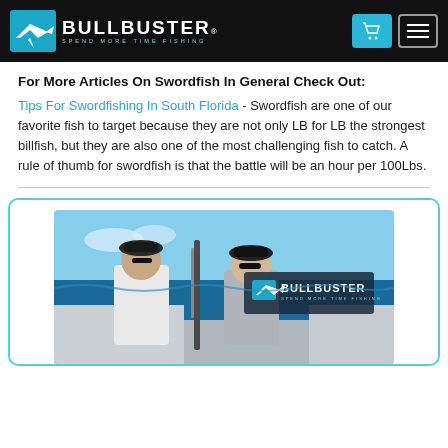BULLBUSTER - SPEND MORE TIME FISHING
For More Articles On Swordfish In General Check Out:
Tips For Swordfishing In South Florida - Swordfish are one of our favorite fish to target because they are not only LB for LB the strongest billfish, but they are also one of the most challenging fish to catch. A rule of thumb for swordfish is that the battle will be an hour per 100Lbs.
[Figure (photo): Two men on a fishing boat holding a swordfish, with a Bullbuster branded banner visible in the background. Blue ocean water behind them.]